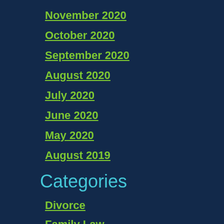November 2020
October 2020
September 2020
August 2020
July 2020
June 2020
May 2020
August 2019
Categories
Divorce
Family Law
Firm News